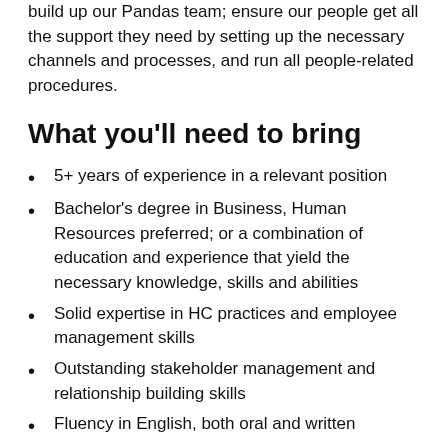build up our Pandas team; ensure our people get all the support they need by setting up the necessary channels and processes, and run all people-related procedures.
What you'll need to bring
5+ years of experience in a relevant position
Bachelor's degree in Business, Human Resources preferred; or a combination of education and experience that yield the necessary knowledge, skills and abilities
Solid expertise in HC practices and employee management skills
Outstanding stakeholder management and relationship building skills
Fluency in English, both oral and written